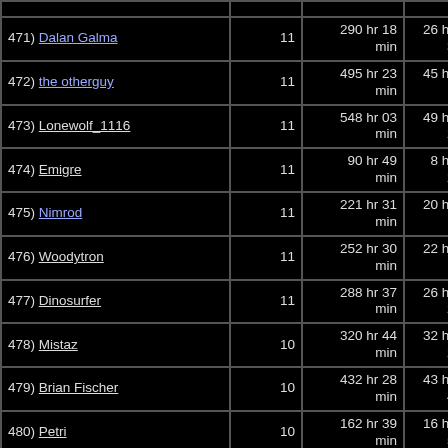| Name | Count | Total Time | Avg Time |
| --- | --- | --- | --- |
| 471) Dalan Galma | 11 | 290 hr 18 min | 26 hr 23 min 32.4 sec |
| 472) the otherguy | 11 | 495 hr 23 min | 45 hr 02 min 10.2 sec |
| 473) Lonewolf_1116 | 11 | 548 hr 03 min | 49 hr 49 min 25.1 sec |
| 474) Emigre | 11 | 90 hr 49 min | 8 hr 15 min 26.7 sec |
| 475) Nimrod | 11 | 221 hr 31 min | 20 hr 08 min 17.1 sec |
| 476) Woodytron | 11 | 252 hr 30 min | 22 hr 57 min 18.3 sec |
| 477) Dinosurfer | 11 | 288 hr 37 min | 26 hr 14 min 21.6 sec |
| 478) Mistaz | 10 | 320 hr 44 min | 32 hr 04 min 24.3 sec |
| 479) Brian Fischer | 10 | 432 hr 28 min | 43 hr 14 min 48.8 sec |
| 480) Petri | 10 | 162 hr 39 min | 16 hr 15 min 57.4 sec |
| 481) Lunar | 10 | 146 hr 26 | 14 hr 38 min |